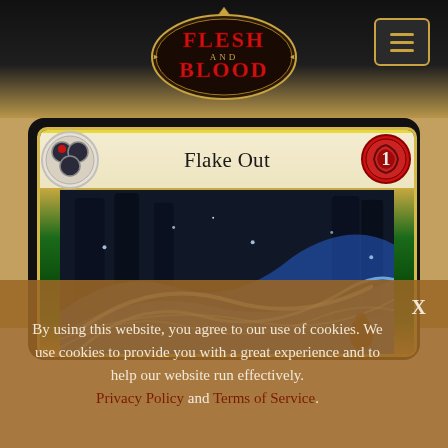[Figure (logo): Flesh and Blood trading card game logo with ornate gold and red lettering on dark background with hamburger menu icon in top right]
[Figure (illustration): Flesh and Blood trading card named 'Flake Out' showing swirling blue ice/frost magic art in a forest scene with decorative green and gold card border, class icons on left, cost icon showing 1 on right]
By using this website, you agree to our use of cookies. We use cookies to provide you with a great experience and to help our website run effectively. Privacy Policy and Terms of Service.